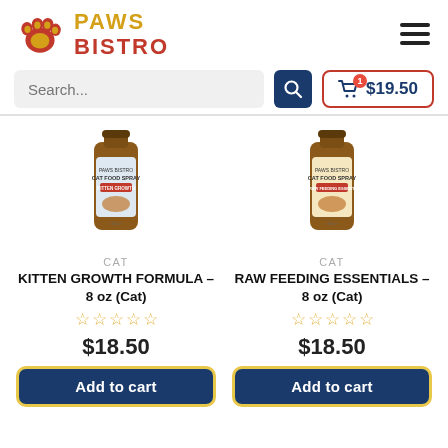[Figure (logo): Paws Bistro logo with orange paw print and red/yellow brand text]
Search...
$19.50 (cart with 1 item)
[Figure (photo): Bottle of Paws Bistro Cat Food Spray - Kitten Growth Formula, 8 oz]
CAT
KITTEN GROWTH FORMULA – 8 oz (Cat)
☆☆☆☆☆ (0 stars)
$18.50
Add to cart
[Figure (photo): Bottle of Paws Bistro Cat Food Spray - Raw Feeding Essentials, 8 oz]
CAT
RAW FEEDING ESSENTIALS – 8 oz (Cat)
☆☆☆☆☆ (0 stars)
$18.50
Add to cart